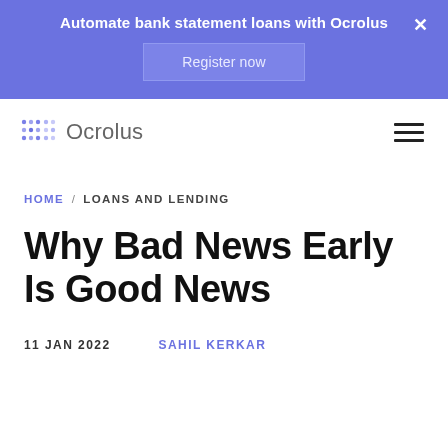Automate bank statement loans with Ocrolus
[Figure (screenshot): Register now button on blue promotional banner]
[Figure (logo): Ocrolus logo with dot grid icon and company name]
HOME / LOANS AND LENDING
Why Bad News Early Is Good News
11 JAN 2022
SAHIL KERKAR